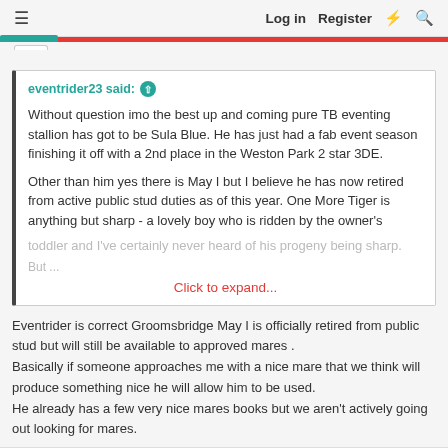≡   Log in   Register   ⚡   🔍
eventrider23 said: ↑ Without question imo the best up and coming pure TB eventing stallion has got to be Sula Blue. He has just had a fab event season finishing it off with a 2nd place in the Weston Park 2 star 3DE. Other than him yes there is May I but I believe he has now retired from active public stud duties as of this year. One More Tiger is anything but sharp - a lovely boy who is ridden by the owner's toddler and I've certainly never heard of his progeny being sharp. Click to expand...
Eventrider is correct Groomsbridge May I is officially retired from public stud but will still be available to approved mares . Basically if someone approaches me with a nice mare that we think will produce something nice he will allow him to be used. He already has a few very nice mares books but we aren't actively going out looking for mares.